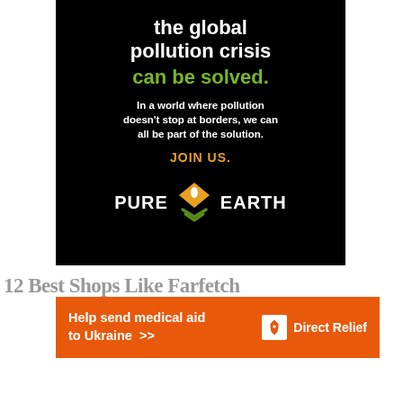[Figure (illustration): Pure Earth charity advertisement on black background. Large white text: 'the global pollution crisis' then green bold text: 'can be solved.' Body text in white bold: 'In a world where pollution doesn't stop at borders, we can all be part of the solution.' Orange bold text: 'JOIN US.' Pure Earth logo with diamond/layered chevron graphic icon between the words PURE and EARTH.]
12 Best Shops Like Farfetch
[Figure (illustration): Direct Relief orange banner advertisement. White bold text: 'Help send medical aid to Ukraine >>' on the left. Direct Relief logo with white icon and white text 'Direct Relief' on the right.]